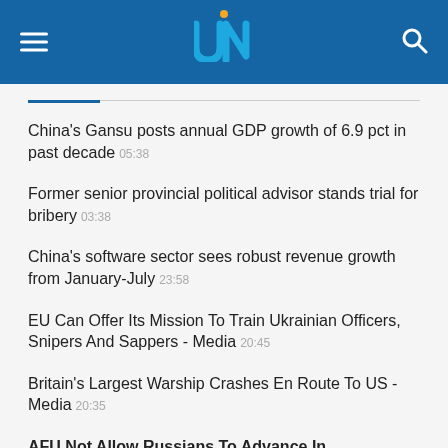UN (logo) navigation header
China's Gansu posts annual GDP growth of 6.9 pct in past decade 05:38
Former senior provincial political advisor stands trial for bribery 03:38
China's software sector sees robust revenue growth from January-July 23:58
EU Can Offer Its Mission To Train Ukrainian Officers, Snipers And Sappers - Media 20:45
Britain's Largest Warship Crashes En Route To US - Media 20:35
AFU Not Allow Russians To Advance In Novopavlivka And Pivdennyi Buh Directions - General Staff 20:19
Ukrainian Military Repels All Enemy Attacks In Donbas